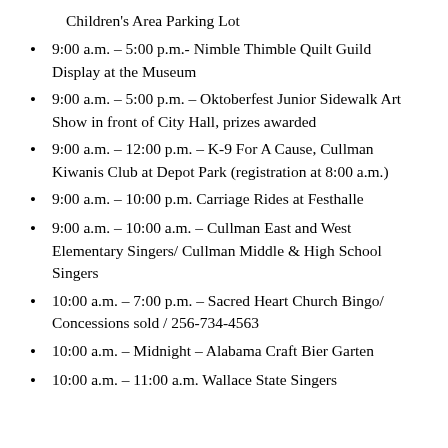Children's Area Parking Lot
9:00 a.m. – 5:00 p.m.- Nimble Thimble Quilt Guild Display at the Museum
9:00 a.m. – 5:00 p.m. – Oktoberfest Junior Sidewalk Art Show in front of City Hall, prizes awarded
9:00 a.m. – 12:00 p.m. – K-9 For A Cause, Cullman Kiwanis Club at Depot Park (registration at 8:00 a.m.)
9:00 a.m. – 10:00 p.m. Carriage Rides at Festhalle
9:00 a.m. – 10:00 a.m. – Cullman East and West Elementary Singers/ Cullman Middle & High School Singers
10:00 a.m. – 7:00 p.m. – Sacred Heart Church Bingo/ Concessions sold / 256-734-4563
10:00 a.m. – Midnight – Alabama Craft Bier Garten
10:00 a.m. – 11:00 a.m. Wallace State Singers